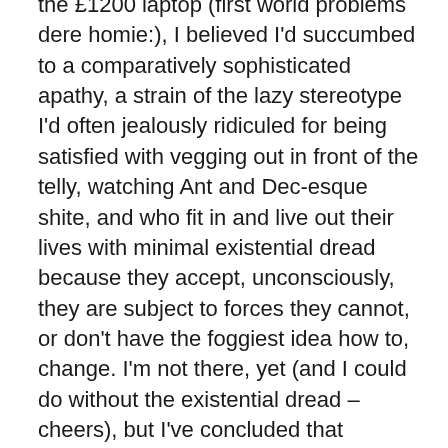the £1200 laptop (first world problems dere homie:), I believed I'd succumbed to a comparatively sophisticated apathy, a strain of the lazy stereotype I'd often jealously ridiculed for being satisfied with vegging out in front of the telly, watching Ant and Dec-esque shite, and who fit in and live out their lives with minimal existential dread because they accept, unconsciously, they are subject to forces they cannot, or don't have the foggiest idea how to, change. I'm not there, yet (and I could do without the existential dread – cheers), but I've concluded that discussing current political events, particularly through the written word, is utterly ineffectual.
Suitably, Brexit embodies this epiphany, as it can be universally dismissed like Paul Pogba, and his haircut(s), as a bag of shite. Taking the serious alternative leads down an exasperating road, as the debate around Brexit is